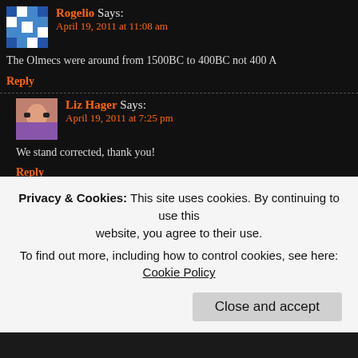Rogelio Says: April 19, 2011 at 11:08 am
The Olmecs were around from 1500BC to 400BC not 400 A
Reply
Liz Hager Says: April 19, 2011 at 7:25 pm
We stand corrected, thank you!
Reply
Mario Says: May 9, 2013 at 3:03 pm
I am from Guanajuato, Mexico . I am so proud to be Mexica culture. i have learned a lot about world art and i found more Mesoamerica Art. Its amazing how the Mayans had a lot of k Universe and also how the Aztec empire was one of the larg also The Olmec s had an amazing artifacts for example the c
Privacy & Cookies: This site uses cookies. By continuing to use this website, you agree to their use. To find out more, including how to control cookies, see here: Cookie Policy
Close and accept